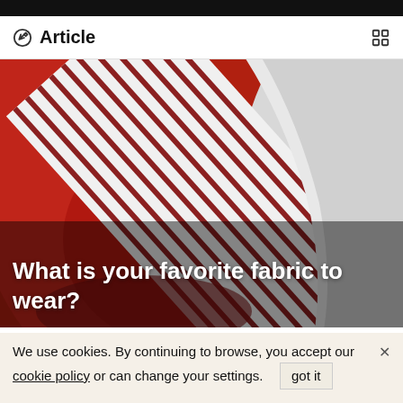Article
[Figure (photo): Close-up photo of folded fabric/shirts in red and white/striped patterns]
What is your favorite fabric to wear?
If you remember that perfect shirt, how comfortable it was and how it felt, you might find yourself asking why
We use cookies. By continuing to browse, you accept our cookie policy or can change your settings.   got it